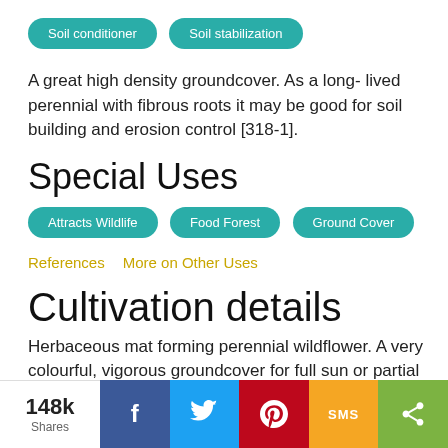Soil conditioner
Soil stabilization
A great high density groundcover. As a long- lived perennial with fibrous roots it may be good for soil building and erosion control [318-1].
Special Uses
Attracts Wildlife
Food Forest
Ground Cover
References   More on Other Uses
Cultivation details
Herbaceous mat forming perennial wildflower. A very colourful, vigorous groundcover for full sun or partial shade. Poor soil tolerant. USDA Hardiness Zones: 4 - 9
148k Shares